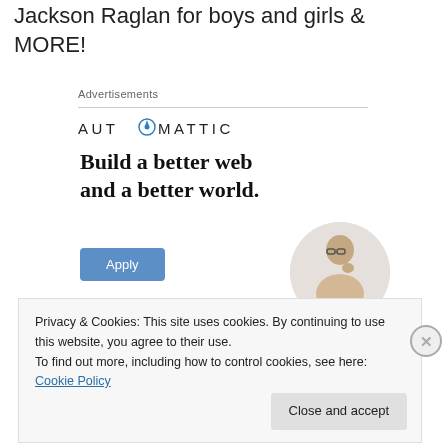Jackson Raglan for boys and girls & MORE!
Advertisements
[Figure (logo): Automattic logo with compass icon replacing the letter O]
[Figure (illustration): Automattic advertisement: 'Build a better web and a better world.' with an Apply button and a circular photo of a man thinking]
Privacy & Cookies: This site uses cookies. By continuing to use this website, you agree to their use.
To find out more, including how to control cookies, see here: Cookie Policy
Close and accept